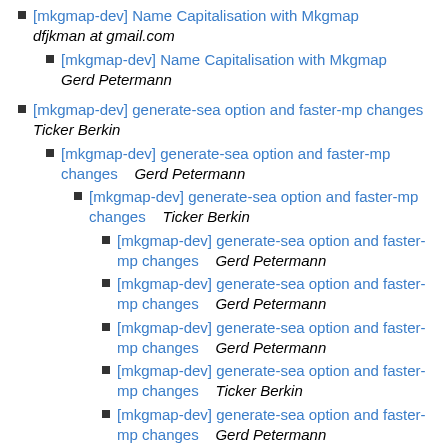[mkgmap-dev] Name Capitalisation with Mkgmap
dfjkman at gmail.com
[mkgmap-dev] Name Capitalisation with Mkgmap
Gerd Petermann
[mkgmap-dev] generate-sea option and faster-mp changes
Ticker Berkin
[mkgmap-dev] generate-sea option and faster-mp changes    Gerd Petermann
[mkgmap-dev] generate-sea option and faster-mp changes    Ticker Berkin
[mkgmap-dev] generate-sea option and faster-mp changes    Gerd Petermann
[mkgmap-dev] generate-sea option and faster-mp changes    Gerd Petermann
[mkgmap-dev] generate-sea option and faster-mp changes    Gerd Petermann
[mkgmap-dev] generate-sea option and faster-mp changes    Ticker Berkin
[mkgmap-dev] generate-sea option and faster-mp changes    Gerd Petermann